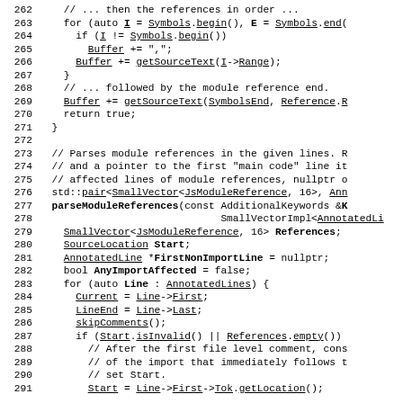Source code listing, lines 262-291, showing C++ module reference parsing code